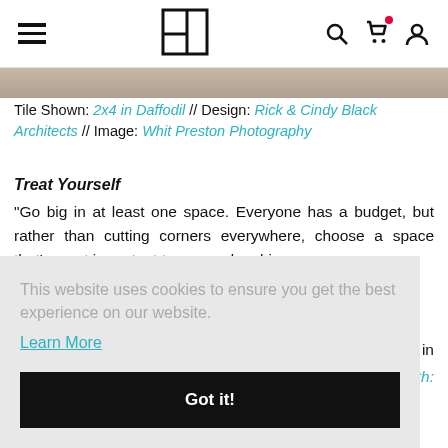Navigation bar with hamburger menu, logo, search, cart, and user icons
[Figure (photo): Partial image strip of a tiled room at the top]
Tile Shown: 2x4 in Daffodil // Design: Rick & Cindy Black Architects // Image: Whit Preston Photography
Treat Yourself
“Go big in at least one space. Everyone has a budget, but rather than cutting corners everywhere, choose a space that’s most important to you and go big [partially obscured] ...n in
[partially visible italic cyan text] ...th:
This website uses cookies to ensure you get the best experience on our website.
Learn More
Got it!